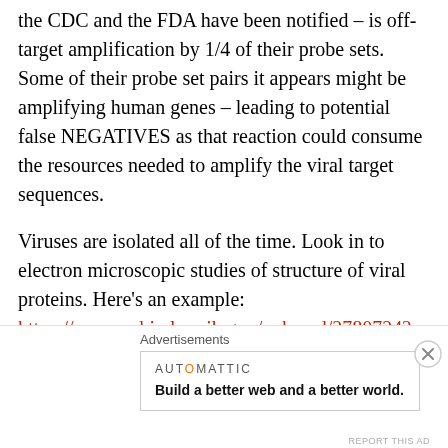the CDC and the FDA have been notified – is off-target amplification by 1/4 of their probe sets. Some of their probe set pairs it appears might be amplifying human genes – leading to potential false NEGATIVES as that reaction could consume the resources needed to amplify the viral target sequences.
Viruses are isolated all of the time. Look in to electron microscopic studies of structure of viral proteins. Here's an example: https://www.ncbi.nlm.nih.gov/pubmed/2780724?
Advertisements
AUTOMATTIC — Build a better web and a better world.